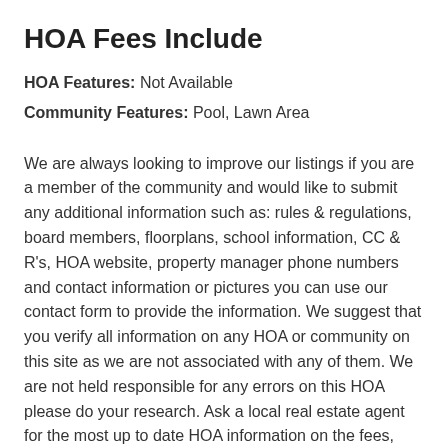HOA Fees Include
HOA Features: Not Available
Community Features: Pool, Lawn Area
We are always looking to improve our listings if you are a member of the community and would like to submit any additional information such as: rules & regulations, board members, floorplans, school information, CC & R's, HOA website, property manager phone numbers and contact information or pictures you can use our contact form to provide the information. We suggest that you verify all information on any HOA or community on this site as we are not associated with any of them. We are not held responsible for any errors on this HOA please do your research. Ask a local real estate agent for the most up to date HOA information on the fees, community rules, documents, bylaws and regulations. If you are looking for